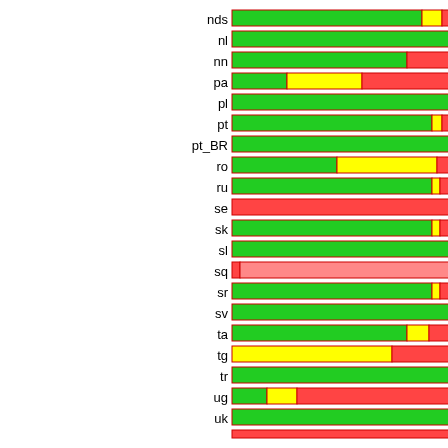[Figure (stacked-bar-chart): Language coverage chart]